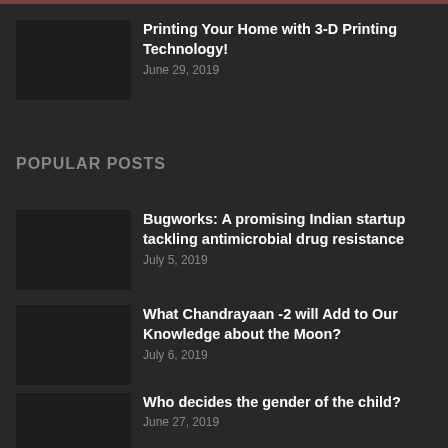Printing Your Home with 3-D Printing Technology!
June 29, 2019
POPULAR POSTS
Bugworks: A promising Indian startup tackling antimicrobial drug resistance
July 5, 2019
What Chandrayaan -2 will Add to Our Knowledge about the Moon?
July 6, 2019
Who decides the gender of the child?
June 27, 2019